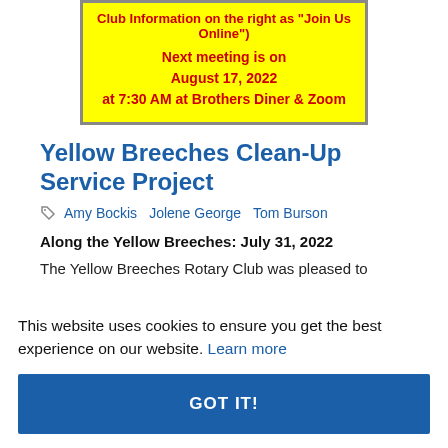Club Information on the right as "Join Us Online")
Next meeting is on August 17, 2022 at 7:30 AM at Brothers Diner & Zoom
Yellow Breeches Clean-Up Service Project
Amy Bockis  Jolene George  Tom Burson
Along the Yellow Breeches: July 31, 2022
The Yellow Breeches Rotary Club was pleased to
This website uses cookies to ensure you get the best experience on our website. Learn more
GOT IT!